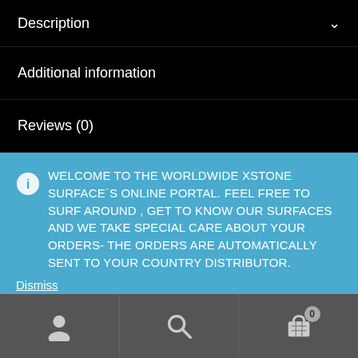Description
Additional information
Reviews (0)
WELCOME TO THE WORLDWIDE XSTONE SURFACE´S ONLINE PORTAL. FEEL FREE TO SURF AROUND , GET TO KNOW OUR SURFACES AND WE TAKE SPECIAL CARE ABOUT YOUR ORDERS- THE ORDERS ARE AUTOMATICALLY SENT TO YOUR COUNTRY DISTRIBUTOR.
Dismiss
user icon, search icon, cart icon with badge 0